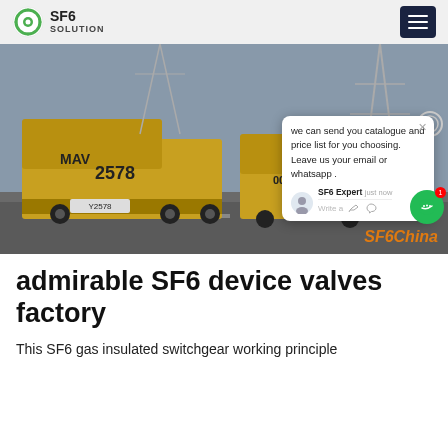SF6 SOLUTION
[Figure (photo): Industrial SF6 gas service vehicles (yellow trucks) parked at a high-voltage electrical substation with transmission towers in background. Overlay chat popup showing 'we can send you catalogue and price list for you choosing. Leave us your email or whatsapp . SF6 Expert just now'. Watermark text 'SF6China' in orange bottom right.]
admirable SF6 device valves factory
This SF6 gas insulated switchgear working principle